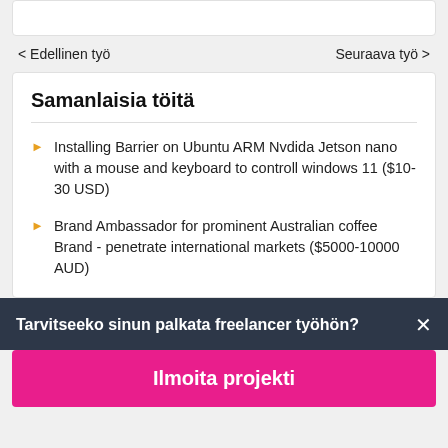< Edellinen työ
Seuraava työ >
Samanlaisia töitä
Installing Barrier on Ubuntu ARM Nvdida Jetson nano with a mouse and keyboard to controll windows 11 ($10-30 USD)
Brand Ambassador for prominent Australian coffee Brand - penetrate international markets ($5000-10000 AUD)
Tarvitseeko sinun palkata freelancer työhön?
Ilmoita projekti